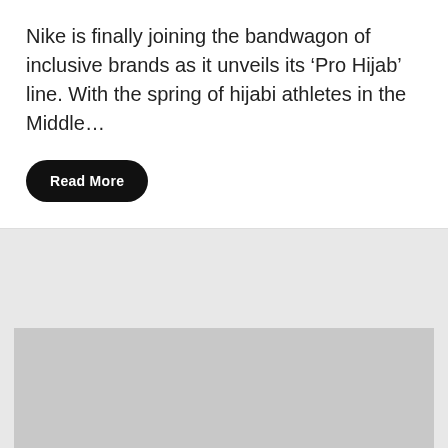Nike is finally joining the bandwagon of inclusive brands as it unveils its ‘Pro Hijab’ line. With the spring of hijabi athletes in the Middle…
[Figure (photo): Gray placeholder image block in the lower portion of the page]